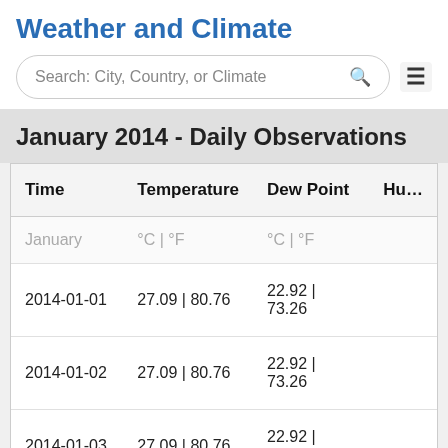Weather and Climate
Search: City, Country, or Climate
January 2014 - Daily Observations
| Time | Temperature | Dew Point | Hum |
| --- | --- | --- | --- |
| January | °C | °F | °C | °F |  |
| 2014-01-01 | 27.09 | 80.76 | 22.92 | 73.26 |  |
| 2014-01-02 | 27.09 | 80.76 | 22.92 | 73.26 |  |
| 2014-01-03 | 27.09 | 80.76 | 22.92 | 73.26 |  |
| 2014-01-04 | 27.09 | 80.76 | 23.96 | 75.13 |  |